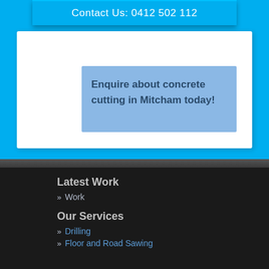Contact Us: 0412 502 112
Enquire about concrete cutting in Mitcham today!
Latest Work
» Work
Our Services
» Drilling
» Floor and Road Sawing